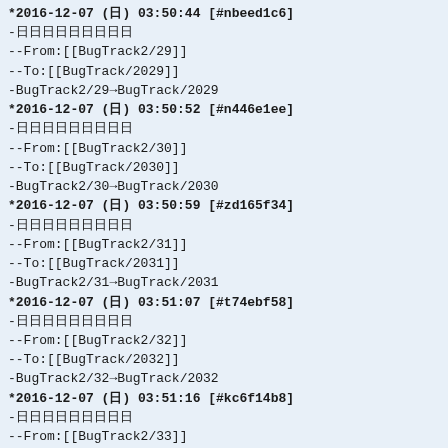*2016-12-07 (日) 03:50:44 [#nbeed1c6]
-日日日日日日日日日
--From:[[BugTrack2/29]]
--To:[[BugTrack/2029]]
-BugTrack2/29→BugTrack/2029
*2016-12-07 (日) 03:50:52 [#n446e1ee]
-日日日日日日日日日
--From:[[BugTrack2/30]]
--To:[[BugTrack/2030]]
-BugTrack2/30→BugTrack/2030
*2016-12-07 (日) 03:50:59 [#zd165f34]
-日日日日日日日日日
--From:[[BugTrack2/31]]
--To:[[BugTrack/2031]]
-BugTrack2/31→BugTrack/2031
*2016-12-07 (日) 03:51:07 [#t74ebf58]
-日日日日日日日日日
--From:[[BugTrack2/32]]
--To:[[BugTrack/2032]]
-BugTrack2/32→BugTrack/2032
*2016-12-07 (日) 03:51:16 [#kc6f14b8]
-日日日日日日日日日
--From:[[BugTrack2/33]]
--To:[[BugTrack/2033]]
-BugTrack2/33→BugTrack/2033
*2016-12-07 (日) 03:51:25 [#g07b6439]
-日日日日日日日日日
--From:[[BugTrack2/34]]
--To:[[BugTrack/2034]]
-BugTrack2/34→BugTrack/2034